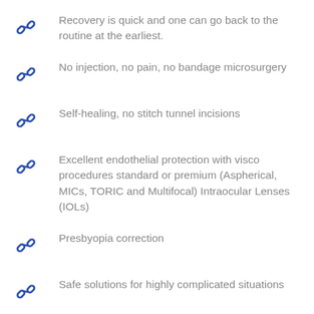Recovery is quick and one can go back to the routine at the earliest.
No injection, no pain, no bandage microsurgery
Self-healing, no stitch tunnel incisions
Excellent endothelial protection with visco procedures standard or premium (Aspherical, MICs, TORIC and Multifocal) Intraocular Lenses (IOLs)
Presbyopia correction
Safe solutions for highly complicated situations